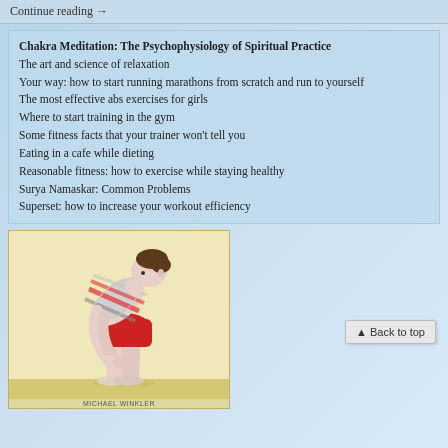Continue reading →
Chakra Meditation: The Psychophysiology of Spiritual Practice
The art and science of relaxation
Your way: how to start running marathons from scratch and run to yourself
The most effective abs exercises for girls
Where to start training in the gym
Some fitness facts that your trainer won't tell you
Eating in a cafe while dieting
Reasonable fitness: how to exercise while staying healthy
Surya Namaskar: Common Problems
Superset: how to increase your workout efficiency
[Figure (photo): A man in a striped sleeveless top and red shorts performing a forward bend yoga pose, touching his shins, on a light background. Caption: MICHAEL WINKLER]
▲ Back to top